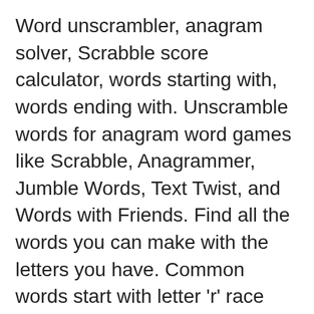Word unscrambler, anagram solver, Scrabble score calculator, words starting with, words ending with. Unscramble words for anagram word games like Scrabble, Anagrammer, Jumble Words, Text Twist, and Words with Friends. Find all the words you can make with the letters you have. Common words start with letter 'r' race radar radio rain raise rally random range rape rapid rapidly rare rarely rate rather ratio reach reaction reader ready real reality realize really rear reason reasonable rebel recall receive recent recently recession recognition recognize recommend record recorded recording recover recovery reduce reduction reference referendum referred referring reflect Rhotic speakers, such as English Westcountry, pronounce "r" at the ends of words like "tuner"; non-rhotic